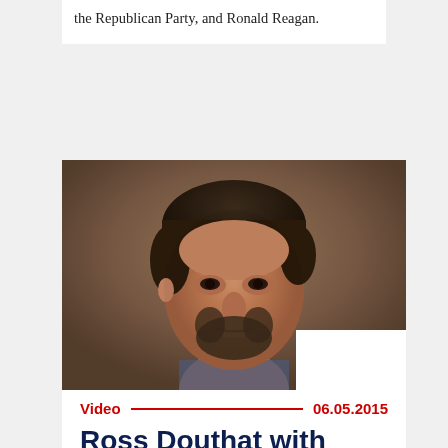the Republican Party, and Ronald Reagan.
[Figure (photo): Close-up photo of a man with short dark hair and a beard, looking slightly to the side, against a dark brownish background. The photo is a video thumbnail.]
Video  06.05.2015
Ross Douthat with Charles Kesler
Charles Kesler and Ross Douthat assess modern conservativism: saving the